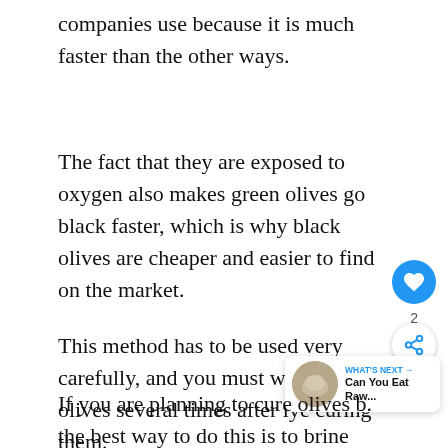companies use because it is much faster than the other ways.
The fact that they are exposed to oxygen also makes green olives go black faster, which is why black olives are cheaper and easier to find on the market.
This method has to be used very carefully, and you must wash the olives several times after lye curing them.
If you are planning to cure olives b... the best way to do this is to brine them. Of